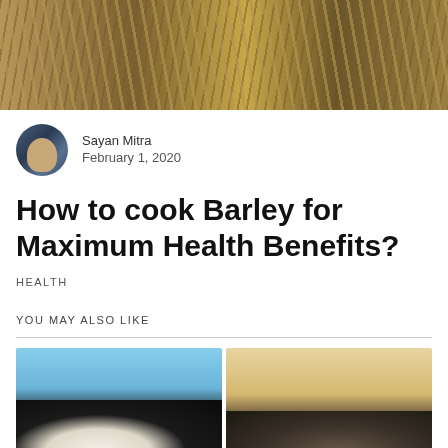[Figure (photo): Close-up photo of barley grains and wheat stalks on a dark background]
Sayan Mitra
February 1, 2020
How to cook Barley for Maximum Health Benefits?
HEALTH
YOU MAY ALSO LIKE
[Figure (photo): Two side-by-side photos: left shows a white and black cow or animal against blue sky, right shows a grey animal head against a beige background]